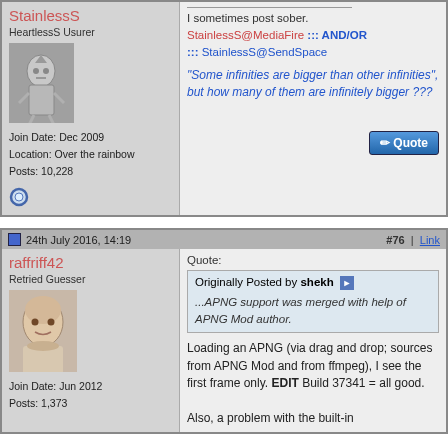StainlessS
HeartlessS Usurer
[Figure (photo): Avatar of Tin Man character]
Join Date: Dec 2009
Location: Over the rainbow
Posts: 10,228
I sometimes post sober.
StainlessS@MediaFire ::: AND/OR ::: StainlessS@SendSpace
"Some infinities are bigger than other infinities", but how many of them are infinitely bigger ???
24th July 2016, 14:19
#76 | Link
raffriff42
Retried Guesser
[Figure (photo): Avatar showing a man's face]
Join Date: Jun 2012
Posts: 1,373
Quote:
Originally Posted by shekh
...APNG support was merged with help of APNG Mod author.
Loading an APNG (via drag and drop; sources from APNG Mod and from ffmpeg), I see the first frame only. EDIT Build 37341 = all good.

Also, a problem with the built-in